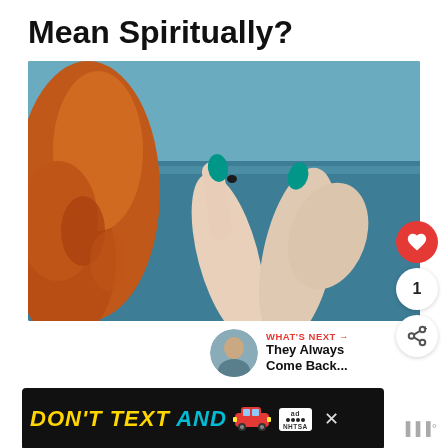Mean Spiritually?
[Figure (photo): Close-up photo of two hands with teal-painted fingernails against a blurred blue ocean background. A woman with curly red hair is partially visible on the left.]
[Figure (infographic): What's Next promo: thumbnail portrait of a man outdoors, label 'WHAT'S NEXT →', text 'They Always Come Back...']
[Figure (infographic): NHTSA ad banner: 'DON'T TEXT AND' with car emoji, ad badge, and close button on dark background.]